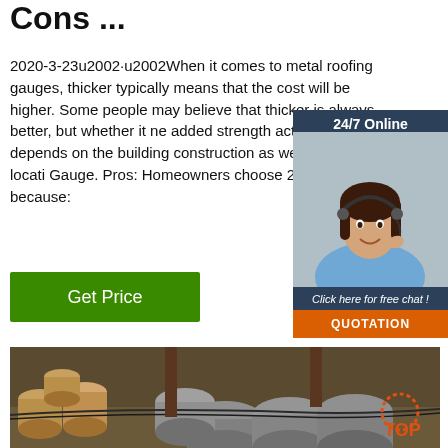Cons ...
2020-3-23u2002·u2002When it comes to metal roofing gauges, thicker typically means that the cost will be higher. Some people may believe that thicker is always better, but whether it needs added strength actually depends on the building construction as well as its location. 22 Gauge. Pros: Homeowners choose 22 for roofing because:
[Figure (other): Green 'Get Price' button]
[Figure (other): Sidebar widget with '24/7 Online' header, photo of woman with headset, 'Click here for free chat!' text, and orange QUOTATION button]
[Figure (photo): Photo of metal rods/pipes stacked together in an industrial setting]